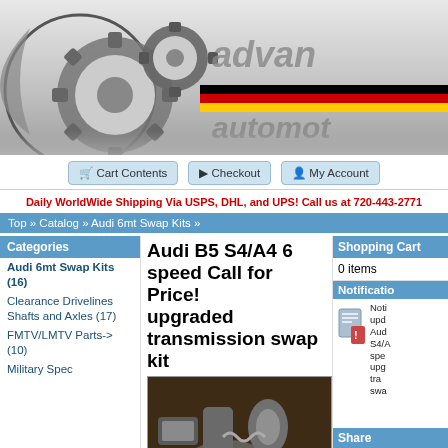[Figure (logo): Advanced Automotive logo with gear icons and German flag stripe]
Cart Contents | Checkout | My Account
Daily WorldWide Shipping Via USPS, DHL, and UPS! Call us at 720-443-2771
Top » Catalog » Audi 6mt Swap Kits »
Categories
Audi 6mt Swap Kits (16)
Clearance Drivelines Shafts and Axles (17)
FMTV/LMTV Parts->(10)
Military Spec
Audi B5 S4/A4 6 speed upgraded transmission swap kit
Call for Price!
[Figure (photo): Photo of Audi B5 S4/A4 6 speed upgraded transmission swap kit parts laid out]
Shopping Cart
0 items
Notification
Notification update: Audi B5 S4/A4 6 speed upgraded transmission swap kit
Share